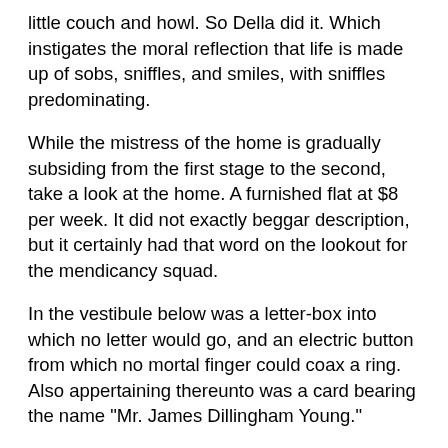little couch and howl. So Della did it. Which instigates the moral reflection that life is made up of sobs, sniffles, and smiles, with sniffles predominating.
While the mistress of the home is gradually subsiding from the first stage to the second, take a look at the home. A furnished flat at $8 per week. It did not exactly beggar description, but it certainly had that word on the lookout for the mendicancy squad.
In the vestibule below was a letter-box into which no letter would go, and an electric button from which no mortal finger could coax a ring. Also appertaining thereunto was a card bearing the name "Mr. James Dillingham Young."
The "Dillingham" had been flung to the breeze during a former period of prosperity when its possessor was being paid $30 per week. Now, when the income was shrunk to $20, though, they were thinking seriously of contracting to a modest and unassuming D. But whenever Mr. James Dillingham Young came home and reached his flat above he was called "Jim" and greatly hugged by Mrs. James